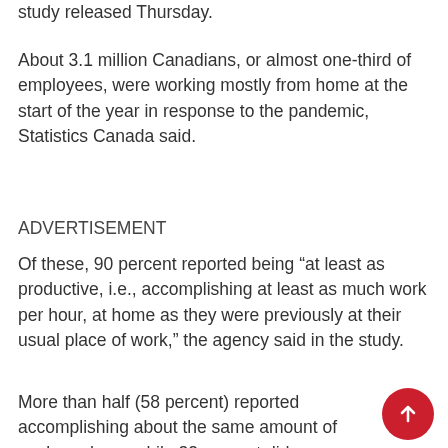study released Thursday.
About 3.1 million Canadians, or almost one-third of employees, were working mostly from home at the start of the year in response to the pandemic, Statistics Canada said.
ADVERTISEMENT
Of these, 90 percent reported being “at least as productive, i.e., accomplishing at least as much work per hour, at home as they were previously at their usual place of work,” the agency said in the study.
More than half (58 percent) reported accomplishing about the same amount of work per hour, while 32 percent did more work. Only 10 percent did less work at home than in an office